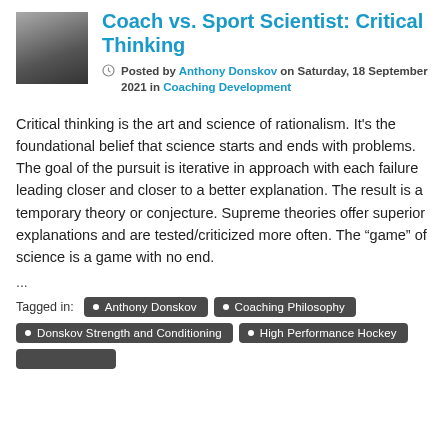[Figure (photo): Black and white photo thumbnail of a person]
Coach vs. Sport Scientist: Critical Thinking
Posted by Anthony Donskov on Saturday, 18 September 2021 in Coaching Development
Critical thinking is the art and science of rationalism.  It's the foundational belief that science starts and ends with problems.  The goal of the pursuit is iterative in approach with each failure leading closer and closer to a better explanation.  The result is a temporary theory or conjecture.  Supreme theories offer superior explanations and are tested/criticized more often. The “game” of science is a game with no end.
...
Tagged in:  • Anthony Donskov  • Coaching Philosophy  • Donskov Strength and Conditioning  • High Performance Hockey